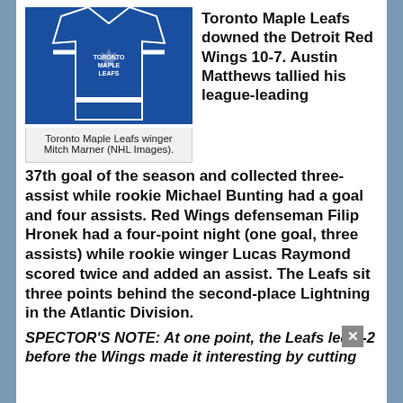[Figure (photo): Toronto Maple Leafs jersey with Toronto Maple Leafs logo, blue and white colors]
Toronto Maple Leafs winger Mitch Marner (NHL Images).
Toronto Maple Leafs downed the Detroit Red Wings 10-7. Austin Matthews tallied his league-leading 37th goal of the season and collected three-assist while rookie Michael Bunting had a goal and four assists. Red Wings defenseman Filip Hronek had a four-point night (one goal, three assists) while rookie winger Lucas Raymond scored twice and added an assist. The Leafs sit three points behind the second-place Lightning in the Atlantic Division.
SPECTOR'S NOTE: At one point, the Leafs led 7-2 before the Wings made it interesting by cutting